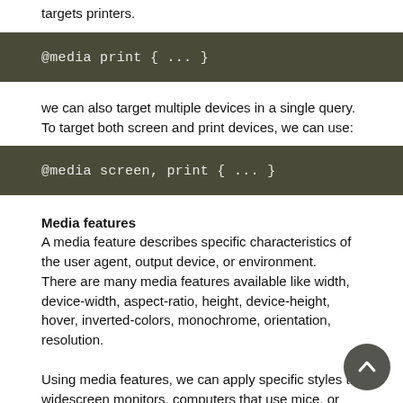targets printers.
@media print { ... }
we can also target multiple devices in a single query. To target both screen and print devices, we can use:
@media screen, print { ... }
Media features
A media feature describes specific characteristics of the user agent, output device, or environment. There are many media features available like width, device-width, aspect-ratio, height, device-height, hover, inverted-colors, monochrome, orientation, resolution.
Using media features, we can apply specific styles to widescreen monitors, computers that use mice, or devices that are being used in low-light conditions.